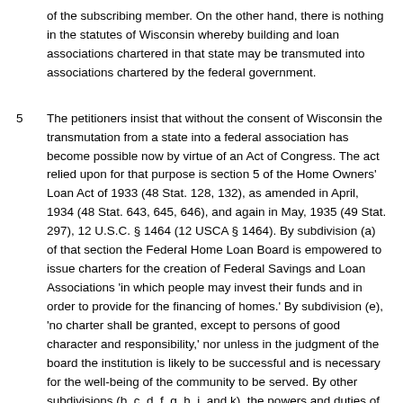of the subscribing member. On the other hand, there is nothing in the statutes of Wisconsin whereby building and loan associations chartered in that state may be transmuted into associations chartered by the federal government.
5  The petitioners insist that without the consent of Wisconsin the transmutation from a state into a federal association has become possible now by virtue of an Act of Congress. The act relied upon for that purpose is section 5 of the Home Owners' Loan Act of 1933 (48 Stat. 128, 132), as amended in April, 1934 (48 Stat. 643, 645, 646), and again in May, 1935 (49 Stat. 297), 12 U.S.C. § 1464 (12 USCA § 1464). By subdivision (a) of that section the Federal Home Loan Board is empowered to issue charters for the creation of Federal Savings and Loan Associations 'in which people may invest their funds and in order to provide for the financing of homes.' By subdivision (e), 'no charter shall be granted, except to persons of good character and responsibility,' nor unless in the judgment of the board the institution is likely to be successful and is necessary for the well-being of the community to be served. By other subdivisions (b, c, d, f, g, h, j, and k), the powers and duties of the associations are defined. Subdivision (i), the one that concerns us specially, permits state associations to be converted into federal ones. As